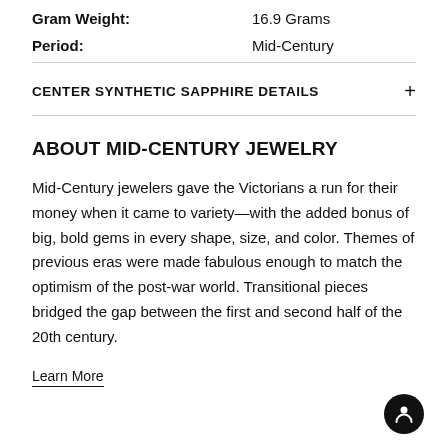Gram Weight: 16.9 Grams
Period: Mid-Century
CENTER SYNTHETIC SAPPHIRE DETAILS
ABOUT MID-CENTURY JEWELRY
Mid-Century jewelers gave the Victorians a run for their money when it came to variety—with the added bonus of big, bold gems in every shape, size, and color. Themes of previous eras were made fabulous enough to match the optimism of the post-war world. Transitional pieces bridged the gap between the first and second half of the 20th century.
Learn More